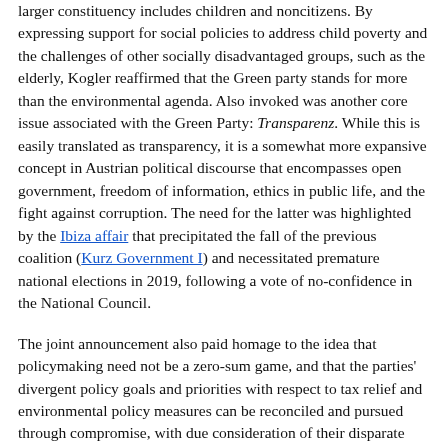larger constituency includes children and noncitizens. By expressing support for social policies to address child poverty and the challenges of other socially disadvantaged groups, such as the elderly, Kogler reaffirmed that the Green party stands for more than the environmental agenda. Also invoked was another core issue associated with the Green Party: Transparenz. While this is easily translated as transparency, it is a somewhat more expansive concept in Austrian political discourse that encompasses open government, freedom of information, ethics in public life, and the fight against corruption. The need for the latter was highlighted by the Ibiza affair that precipitated the fall of the previous coalition (Kurz Government I) and necessitated premature national elections in 2019, following a vote of no-confidence in the National Council.
The joint announcement also paid homage to the idea that policymaking need not be a zero-sum game, and that the parties' divergent policy goals and priorities with respect to tax relief and environmental policy measures can be reconciled and pursued through compromise, with due consideration of their disparate impact on different income strata in the population, and ameliorative policy measures (Sozialausgleich). Kurz made an analogous point about protecting the country's border (ÖVP priority) and protecting the environment (Green priority).
Kogler echoed President van der Bellen's message of national unity by noting his further proposition that "life and government as a...